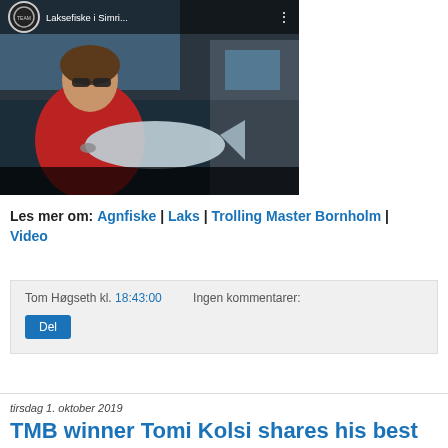[Figure (screenshot): YouTube video thumbnail showing a person in a red jacket holding a large salmon fish on a boat, with YouTube play button overlay. Video title: Laksefiske i Simri...]
Les mer om: Agnfiske | Laks | Trolling Master Bornholm | Video
Tom Høgseth kl. 18:43:00   Ingen kommentarer:
Del
tirsdag 1. oktober 2019
TMB winner Tomi Kolsi shares his best fishing tips